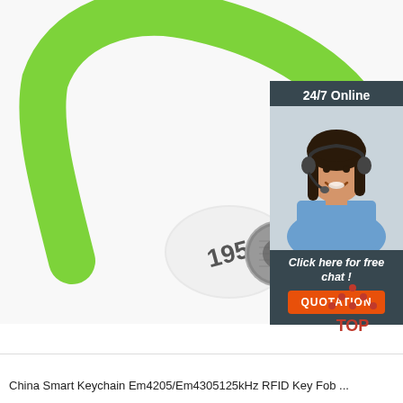[Figure (photo): Green silicone RFID wristband with white oval pod showing number 195 and a metallic button/chip. A customer service sidebar overlay shows a woman with a headset, '24/7 Online' text, 'Click here for free chat!' and an orange QUOTATION button. Bottom right shows a red TOP logo icon.]
China Smart Keychain Em4205/Em4305125kHz RFID Key Fob ...